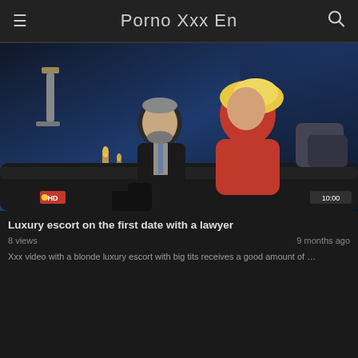Porno Xxx En
[Figure (screenshot): Video thumbnail showing a man in a dark suit sitting with a blonde woman in a red dress on a sofa in a dimly lit room with candles. HD badge in lower left, 10:00 duration badge in lower right.]
Luxury escort on the first date with a lawyer
8 views
9 months ago
Xxx video with a blonde luxury escort with big tits receives a good amount of ...